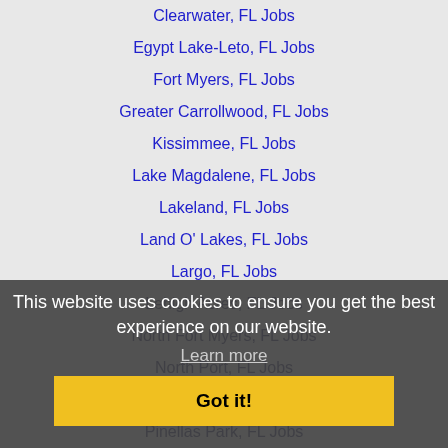Clearwater, FL Jobs
Egypt Lake-Leto, FL Jobs
Fort Myers, FL Jobs
Greater Carrollwood, FL Jobs
Kissimmee, FL Jobs
Lake Magdalene, FL Jobs
Lakeland, FL Jobs
Land O' Lakes, FL Jobs
Largo, FL Jobs
Lehigh Acres, FL Jobs
North Fort Myers, FL Jobs
North Port, FL Jobs
Palm Harbor, FL Jobs
Pinellas Park, FL Jobs
Port Charlotte, FL Jobs
Spring Hill, FL Jobs
St. Petersburg, FL Jobs
Tampa, FL Jobs
This website uses cookies to ensure you get the best experience on our website.
Learn more
Got it!